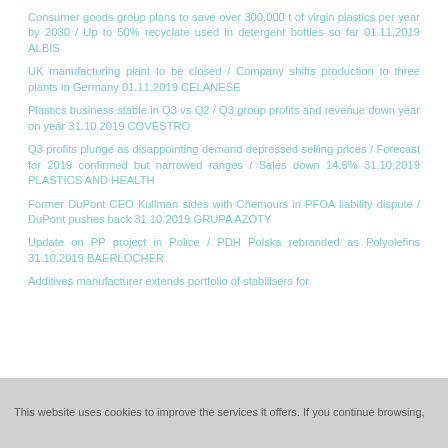Consumer goods group plans to save over 300,000 t of virgin plastics per year by 2030 / Up to 50% recyclate used in detergent bottles so far 01.11.2019 ALBIS
UK manufacturing plant to be closed / Company shifts production to three plants in Germany 01.11.2019 CELANESE
Plastics business stable in Q3 vs Q2 / Q3 group profits and revenue down year on year 31.10.2019 COVESTRO
Q3 profits plunge as disappointing demand depressed selling prices / Forecast for 2019 confirmed but narrowed ranges / Sales down 14.6% 31.10.2019 PLASTICS AND HEALTH
Former DuPont CEO Kullman sides with Chemours in PFOA liability dispute / DuPont pushes back 31.10.2019 GRUPA AZOTY
Update on PP project in Police / PDH Polska rebranded as Polyolefins 31.10.2019 BAERLOCHER
Additives manufacturer extends portfolio of stabilisers for
This website uses cookies to improve the services it offers. If you continue browsing,